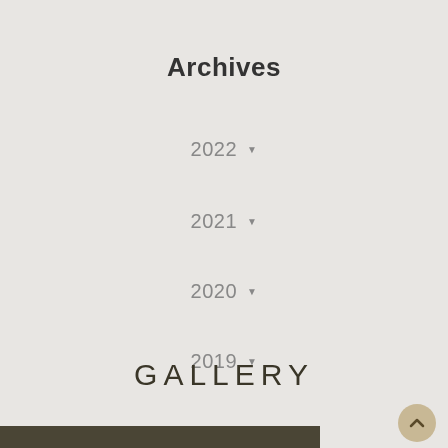Archives
2022 ▾
2021 ▾
2020 ▾
2019 ▾
GALLERY